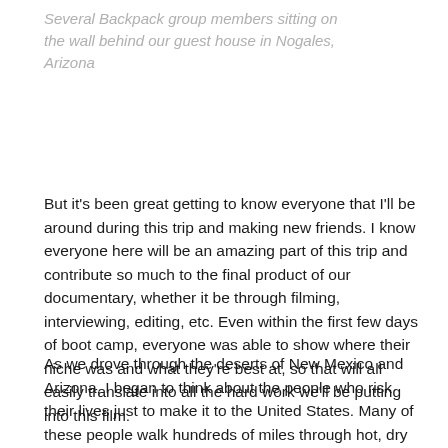Several Backpack group members sitting on the wall behind our guest house in Nogales, Arizona
But it's been great getting to know everyone that I'll be around during this trip and making new friends. I know everyone here will be an amazing part of this trip and contribute so much to the final product of our documentary, whether it be through filming, interviewing, editing, etc. Even within the first few days of boot camp, everyone was able to show where their niche was and what they're best at, so that will all easily translate into all the hard work we'll be putting into this film.
As we drove through the deserts of New Mexico and Arizona, I began to think about the people who risk their lives just to make it to the United States. Many of these people walk hundreds of miles through hot, dry weather just to find a better life, no matter how long that will take